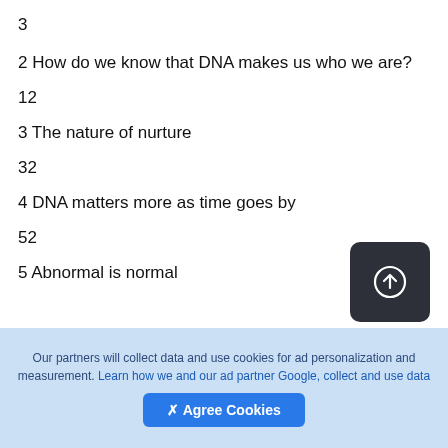3
2 How do we know that DNA makes us who we are?
12
3 The nature of nurture
32
4 DNA matters more as time goes by
52
5 Abnormal is normal
Our partners will collect data and use cookies for ad personalization and measurement. Learn how we and our ad partner Google, collect and use data